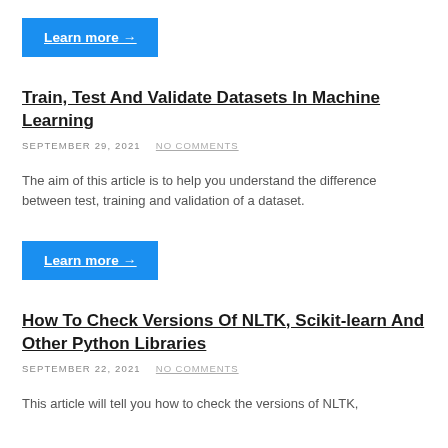Learn more →
Train, Test And Validate Datasets In Machine Learning
SEPTEMBER 29, 2021   NO COMMENTS
The aim of this article is to help you understand the difference between test, training and validation of a dataset.
Learn more →
How To Check Versions Of NLTK, Scikit-learn And Other Python Libraries
SEPTEMBER 22, 2021   NO COMMENTS
This article will tell you how to check the versions of NLTK,